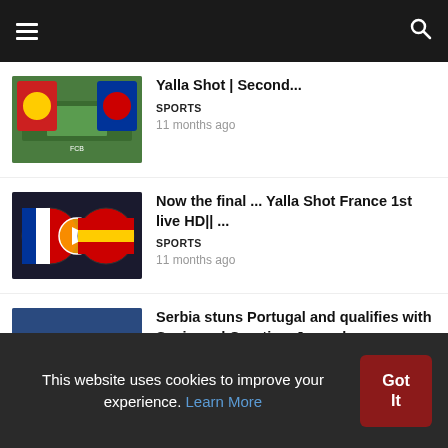Navigation bar with hamburger menu and search icon
Yalla Shot | Second...
SPORTS
11 months ago
Now the final ... Yalla Shot France 1st live HD|| ...
SPORTS
11 months ago
Serbia stuns Portugal and qualifies with Spain and Croatia – Jerusalem
SPORTS
10 months ago
This website uses cookies to improve your experience. Learn More  Got It